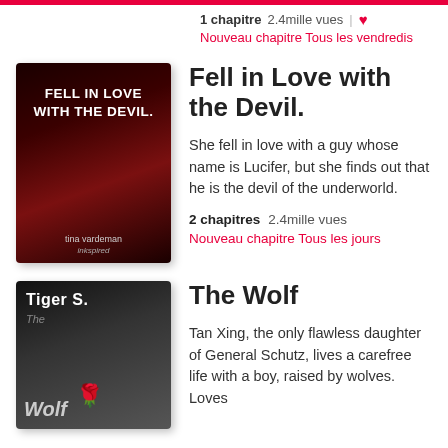1 chapitre   2.4mille vues   | ♥
Nouveau chapitre Tous les vendredis
[Figure (illustration): Book cover for 'Fell in Love with the Devil' showing a woman and man with dark red background, author tina vardeman, publisher inkspired]
Fell in Love with the Devil.
She fell in love with a guy whose name is Lucifer, but she finds out that he is the devil of the underworld.
2 chapitres   2.4mille vues
Nouveau chapitre Tous les jours
[Figure (illustration): Book cover for 'The Wolf' showing a dark-haired person, text 'Tiger S.' at top, dark moody style]
The Wolf
Tan Xing, the only flawless daughter of General Schutz, lives a carefree life with a boy, raised by wolves. Loves